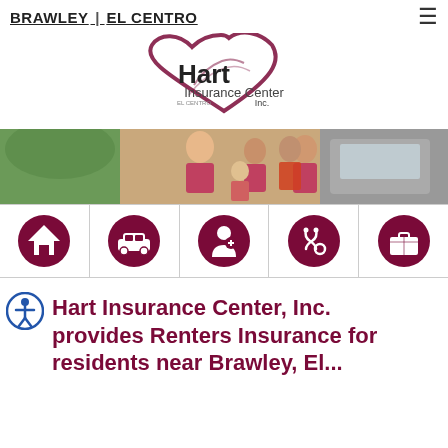BRAWLEY | EL CENTRO
[Figure (logo): Hart Insurance Center Inc. logo with heart shape in dark red/maroon]
[Figure (photo): Banner photo showing a family near a car outdoors]
[Figure (infographic): Five dark red circular icons: home, car, person with heart, stethoscope, briefcase]
Hart Insurance Center, Inc. provides Renters Insurance for residents near Brawley, El...